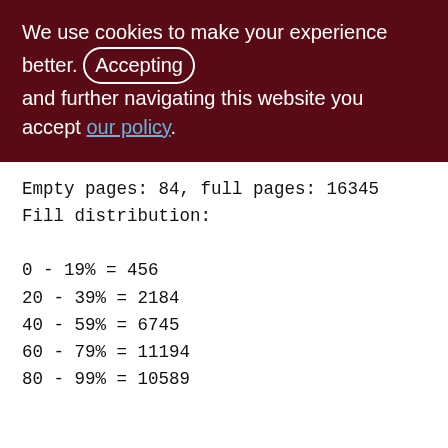We use cookies to make your experience better. By accepting and further navigating this website you accept our policy.
Empty pages: 84, full pages: 16345
Fill distribution:
0 - 19% = 456
20 - 39% = 2184
40 - 59% = 6745
60 - 79% = 11194
80 - 99% = 10589
Index XQD_2000_3300_WARE_SOP_ROP_SND (0)
Root page: 105858, depth: 3, leaf buckets: 2821, nodes: 1797814
Average node length: 5.64, total dup: